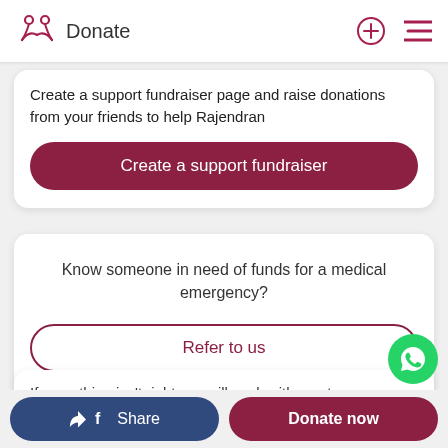Donate
Create a support fundraiser page and raise donations from your friends to help Rajendran
Create a support fundraiser
Know someone in need of funds for a medical emergency?
Refer to us
If something isn't right, we will work with you to ensu
Share
Donate now